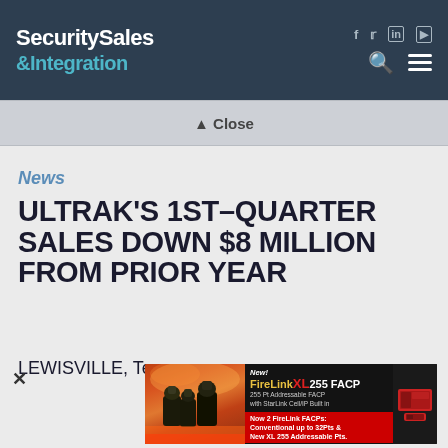Security Sales & Integration
Close
News
ULTRAK'S 1st–QUARTER SALES DOWN $8 MILLION FROM PRIOR YEAR
LEWISVILLE, Texas
[Figure (advertisement): FireLink XL 255 FACP advertisement showing firefighters and product images. New! FireLink XL 255 FACP. 255 Pt Addressable FACP with StarLink Cell/IP Built in. Now 2 FireLink FACPs: Conventional up to 32Pts & New XL 255 Addressable Pts.]